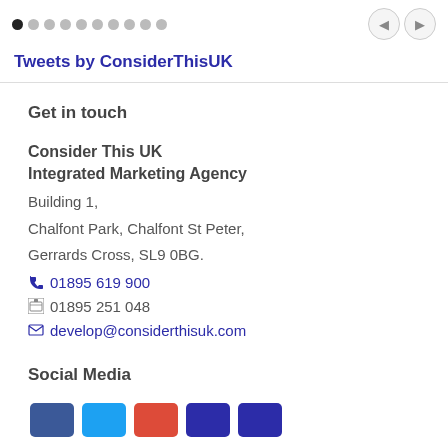[Figure (other): Pagination dots (1 active, 9 inactive) with left/right navigation arrows on the right]
Tweets by ConsiderThisUK
Get in touch
Consider This UK
Integrated Marketing Agency
Building 1,
Chalfont Park, Chalfont St Peter,
Gerrards Cross, SL9 0BG.
01895 619 900
01895 251 048
develop@considerthisuk.com
Social Media
[Figure (other): Row of 5 social media icon buttons (blue/colored rectangles) for Facebook, Twitter, Google+, LinkedIn, YouTube]